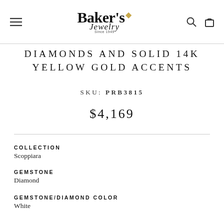Baker's Jewelry
DIAMONDS AND SOLID 14K YELLOW GOLD ACCENTS
SKU: PRB3815
$4,169
COLLECTION
Scoppiara
GEMSTONE
Diamond
GEMSTONE/DIAMOND COLOR
White